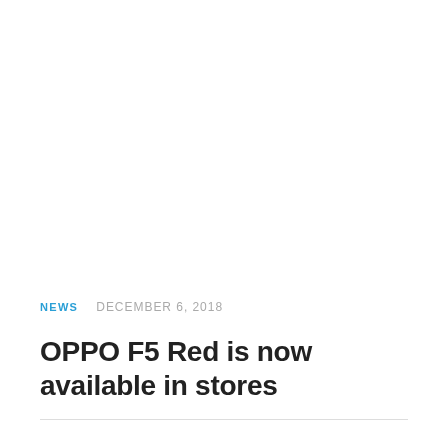NEWS   DECEMBER 6, 2018
OPPO F5 Red is now available in stores